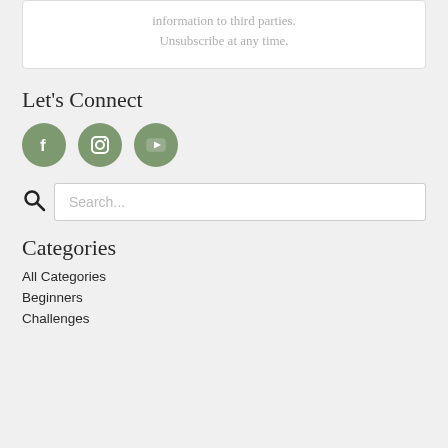information to third parties. Unsubscribe at any time.
Let's Connect
[Figure (illustration): Three circular sage-green social media icons: Facebook (f), Instagram (camera), YouTube (play button)]
Search...
Categories
All Categories
Beginners
Challenges